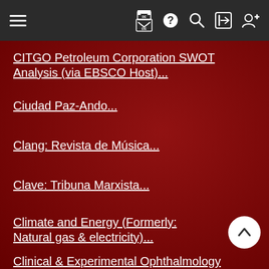Navigation bar with hamburger menu, flag/DE, help, search, login, register icons
CITGO Petroleum Corporation SWOT Analysis (via EBSCO Host)...
Ciudad Paz-Ando...
Clang: Revista de Música...
Clave: Tribuna Marxista...
Climate and Energy (Formerly: Natural gas & electricity)...
Clinical & Experimental Ophthalmology